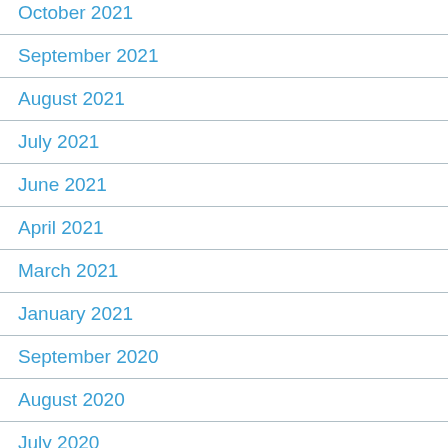October 2021
September 2021
August 2021
July 2021
June 2021
April 2021
March 2021
January 2021
September 2020
August 2020
July 2020